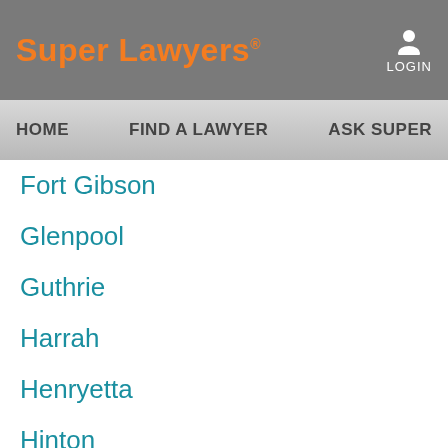Super Lawyers
LOGIN
HOME  FIND A LAWYER  ASK SUPER L...
Fort Gibson
Glenpool
Guthrie
Harrah
Henryetta
Hinton
Hominy
Hulbert